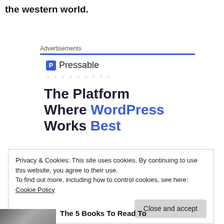the western world.
Advertisements
[Figure (logo): Pressable logo with blue P icon and brand name, followed by dotted line, and headline 'The Platform Where WordPress Works Best']
Privacy & Cookies: This site uses cookies. By continuing to use this website, you agree to their use.
To find out more, including how to control cookies, see here: Cookie Policy
Close and accept
The 5 Books To Read To